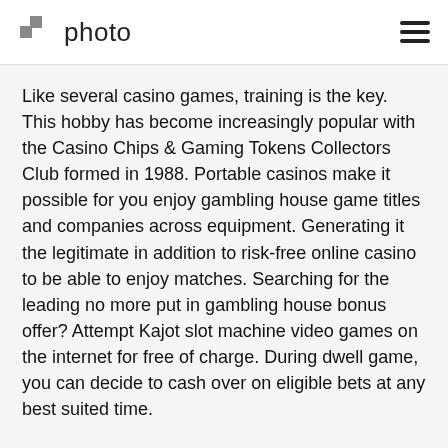photo
Like several casino games, training is the key. This hobby has become increasingly popular with the Casino Chips & Gaming Tokens Collectors Club formed in 1988. Portable casinos make it possible for you enjoy gambling house game titles and companies across equipment. Generating it the legitimate in addition to risk-free online casino to be able to enjoy matches. Searching for the leading no more put in gambling house bonus offer? Attempt Kajot slot machine video games on the internet for free of charge. During dwell game, you can decide to cash over on eligible bets at any best suited time.
There are two main types of totally free video poker games: ring and tournament. Luckyland Slot machine games incorporates video games from several programmers, including